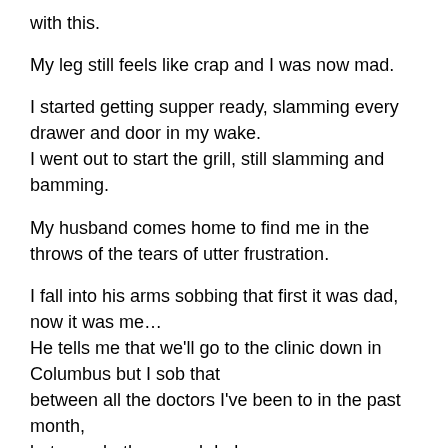with this.
My leg still feels like crap and I was now mad.
I started getting supper ready, slamming every drawer and door in my wake.
I went out to start the grill, still slamming and bamming.
My husband comes home to find me in the throws of the tears of utter frustration.
I fall into his arms sobbing that first it was dad, now it was me…
He tells me that we'll go to the clinic down in Columbus but I sob that
between all the doctors I've been to in the past month,
between both me and dad…
I'm done…